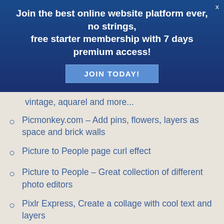[Figure (infographic): Blue banner advertisement: 'Join the best online website platform ever, no strings, free starter membership with 7 days premium access!' with a 'JOIN TODAY!' button and a close X button in the top right corner.]
vintage, aquarel and more… (partial, top cut off)
Picmonkey.com – Add pins, flowers, layers as space and brick walls
Picture to People page curl effect
Picture to People – Great collection of different photo editors
Pixlr Express, Create a collage with cool text and layers
Pixlr.com Work in layers, replace color, transform objects, and more – all from your browser.
Pixlr.com/o-matic – Create vintage and (continues below)